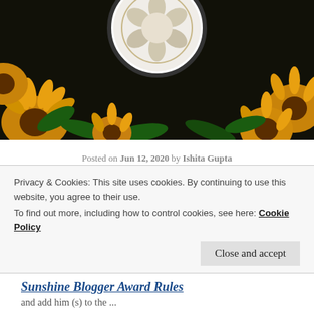[Figure (photo): Sunflower garden photo with a circular white plate or decoration visible at the top center, dark background with yellow sunflowers and green leaves]
Posted on Jun 12, 2020 by Ishita Gupta
These days I have been receiving a lot of sunshine from many beautiful Sun(s). One of them is dear Roshni. Thank you so much Roshni for nominating
Privacy & Cookies: This site uses cookies. By continuing to use this website, you agree to their use.
To find out more, including how to control cookies, see here: Cookie Policy
Close and accept
Sunshine Blogger Award Rules
and add him (s) to the ...